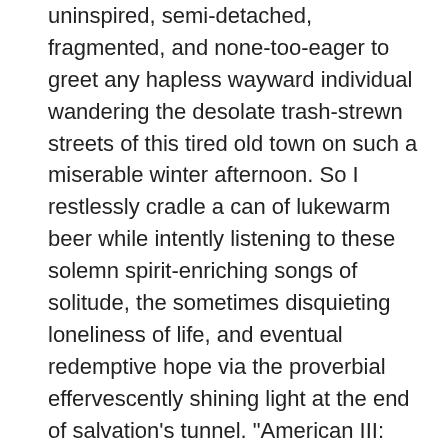uninspired, semi-detached, fragmented, and none-too-eager to greet any hapless wayward individual wandering the desolate trash-strewn streets of this tired old town on such a miserable winter afternoon. So I restlessly cradle a can of lukewarm beer while intently listening to these solemn spirit-enriching songs of solitude, the sometimes disquieting loneliness of life, and eventual redemptive hope via the proverbial effervescently shining light at the end of salvation's tunnel. "American III: Solitary Man" is an all-acoustic slice of rural Americana, a stark somber soundscape of haunting melodies that indelibly touches a man deep in the furthermost recesses of his soul. It aurally conjures rustic images of simplistic domesticity in a pastoral countryside sprawl, beat-up old run-down pick-up trucks, festive Sunday picnics spent euphorically indulging in the soothing sun-splashed splendor of a gentle Spring breeze, history and heritage and unrelenting pride, native tribal Indian spirits ghost-